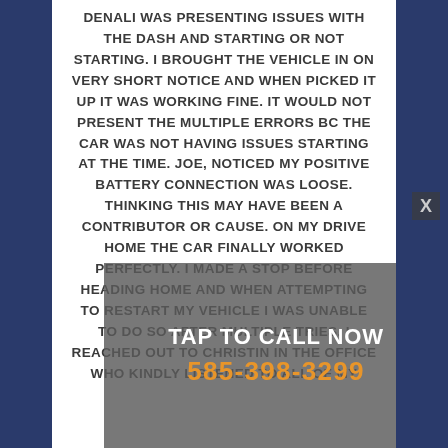DENALI WAS PRESENTING ISSUES WITH THE DASH AND STARTING OR NOT STARTING. I BROUGHT THE VEHICLE IN ON VERY SHORT NOTICE AND WHEN PICKED IT UP IT WAS WORKING FINE. IT WOULD NOT PRESENT THE MULTIPLE ERRORS BC THE CAR WAS NOT HAVING ISSUES STARTING AT THE TIME. JOE, NOTICED MY POSITIVE BATTERY CONNECTION WAS LOOSE. THINKING THIS MAY HAVE BEEN A CONTRIBUTOR OR CAUSE. ON MY DRIVE HOME THE CAR FINALLY WORKED PERFECTLY. I MADE A STOP BEFORE HEADING HOME AND WHEN ATTEMPTING TO RESTART MY VEHICLE I WAS UNABLE TO DO SO AFTER MULTIPLE TRIES. I REACHED OUT TO CHRISTIN IN THE OFFICE WHO KINDLY LISTENED TO ALL OF MY
TAP TO CALL NOW
585-398-3299